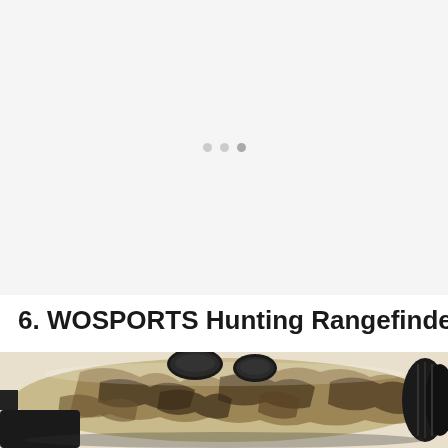[Figure (photo): Light gray placeholder image area with three small circular dots (pagination or loading indicator) centered horizontally in the upper portion]
6. WOSPORTS Hunting Rangefinder
[Figure (photo): Partial photo of a WOSPORTS hunting rangefinder in camouflage (realtree) pattern, showing the top and side of the device with two black control buttons on top and a rubber eyepiece on the right end]